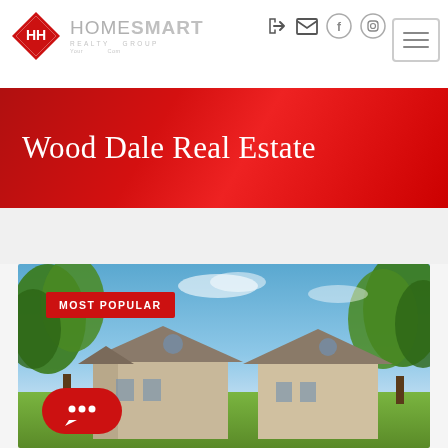[Figure (logo): HomeSmart Realty Group logo with red diamond shape and grey text]
[Figure (screenshot): Navigation icons: login arrow, envelope, Facebook circle, Instagram circle, and hamburger menu button]
Wood Dale Real Estate
[Figure (photo): Property listing photo showing brick house rooftops with blue sky and green trees. Tagged with MOST POPULAR badge and chat button overlay.]